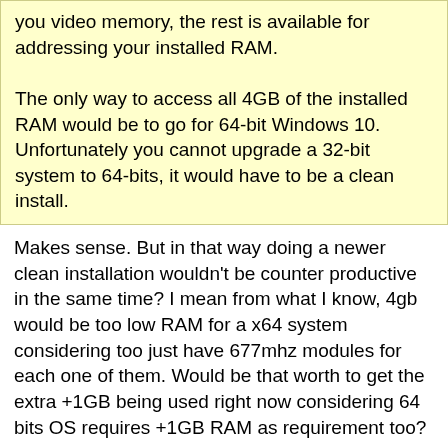you video memory, the rest is available for addressing your installed RAM.

The only way to access all 4GB of the installed RAM would be to go for 64-bit Windows 10. Unfortunately you cannot upgrade a 32-bit system to 64-bits, it would have to be a clean install.
Makes sense. But in that way doing a newer clean installation wouldn't be counter productive in the same time? I mean from what I know, 4gb would be too low RAM for a x64 system considering too just have 677mhz modules for each one of them. Would be that worth to get the extra +1GB being used right now considering 64 bits OS requires +1GB RAM as requirement too?
Bree said:
13 Jan 2018
Minimum requirements are surprisingly modest.
| Specification | Details |
| --- | --- |
| Processor: | 1 gigahertz (GHz) or faster processor or SoC |
| RAM: | 1 gigabyte (GB) for 32 bit or 2 GB for 64 bit |